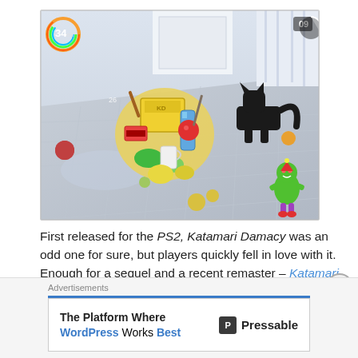[Figure (screenshot): A screenshot from the video game Katamari Damacy REROLL, showing a colorful katamari ball made of various objects being rolled in a room with a black cat, a small green character, and scattered items on a tiled floor. HUD shows '34' with a level indicator in top-left and '09' timer in top-right.]
First released for the PS2, Katamari Damacy was an odd one for sure, but players quickly fell in love with it. Enough for a sequel and a recent remaster – Katamari Damacy REROLL which was released as a PS4 game. The game itself is weird, to say the least. You play the son of a creation deity who one
Advertisements
The Platform Where WordPress Works Best   Pressable